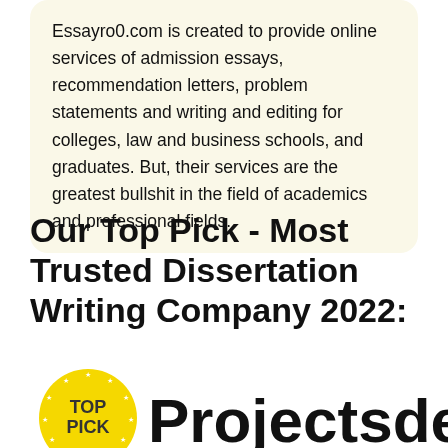Essayro0.com is created to provide online services of admission essays, recommendation letters, problem statements and writing and editing for colleges, law and business schools, and graduates. But, their services are the greatest bullshit in the field of academics and professional fields.
Our Top Pick - Most Trusted Dissertation Writing Company 2022:
[Figure (logo): Yellow circular badge with 'TOP PICK' text in bold and decorative star border]
Projectsdeal.co.uk